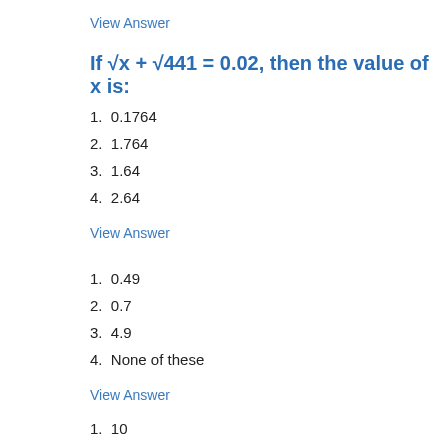View Answer
If √x + √441 = 0.02, then the value of x is:
1.  0.1764
2.  1.764
3.  1.64
4.  2.64
View Answer
1.  0.49
2.  0.7
3.  4.9
4.  None of these
View Answer
1.  10
2.  100
3.  1000